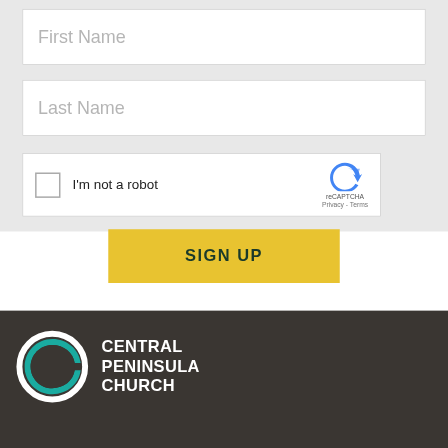[Figure (screenshot): Form input field with placeholder text 'First Name' on light gray background]
[Figure (screenshot): Form input field with placeholder text 'Last Name' on light gray background]
[Figure (screenshot): reCAPTCHA widget with checkbox, 'I'm not a robot' label, and Google reCAPTCHA logo with Privacy and Terms links]
[Figure (screenshot): Yellow 'SIGN UP' button]
[Figure (logo): Central Peninsula Church logo: teal circular C icon with white outer ring, and white text 'CENTRAL PENINSULA CHURCH' on dark brown/charcoal background]